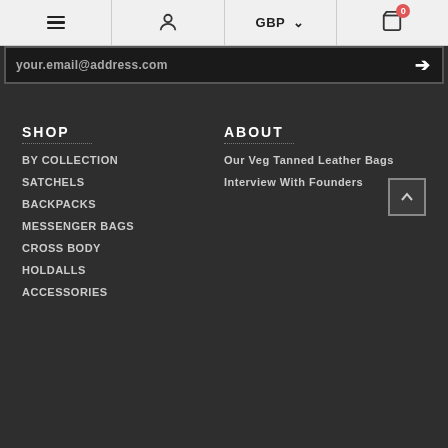Navigation bar with hamburger menu, user icon, GBP currency selector, and cart (0 items)
your.email@address.com →
SHOP
BY COLLECTION
SATCHELS
BACKPACKS
MESSENGER BAGS
CROSS BODY
HOLDALLS
ACCESSORIES
ABOUT
Our Veg Tanned Leather Bags
Interview With Founders